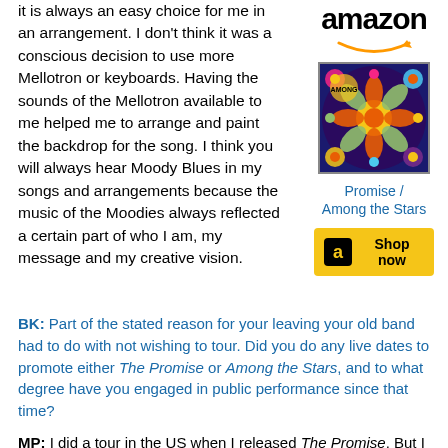it is always an easy choice for me in an arrangement. I don't think it was a conscious decision to use more Mellotron or keyboards. Having the sounds of the Mellotron available to me helped me to arrange and paint the backdrop for the song. I think you will always hear Moody Blues in my songs and arrangements because the music of the Moodies always reflected a certain part of who I am, my message and my creative vision.
[Figure (logo): Amazon logo with smile]
[Figure (illustration): Album cover art for Promise / Among the Stars - colorful psychedelic floral design]
Promise / Among the Stars
[Figure (other): Amazon Shop now button]
BK: Part of the stated reason for your leaving your old band had to do with not wishing to tour. Did you do any live dates to promote either The Promise or Among the Stars, and to what degree have you engaged in public performance since that time?
MP: I did a tour in the US when I released The Promise. But I